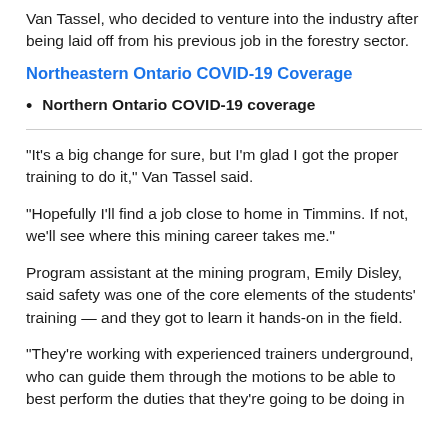Van Tassel, who decided to venture into the industry after being laid off from his previous job in the forestry sector.
Northeastern Ontario COVID-19 Coverage
Northern Ontario COVID-19 coverage
"It's a big change for sure, but I'm glad I got the proper training to do it," Van Tassel said.
"Hopefully I'll find a job close to home in Timmins. If not, we'll see where this mining career takes me."
Program assistant at the mining program, Emily Disley, said safety was one of the core elements of the students' training — and they got to learn it hands-on in the field.
"They're working with experienced trainers underground, who can guide them through the motions to be able to best perform the duties that they're going to be doing in